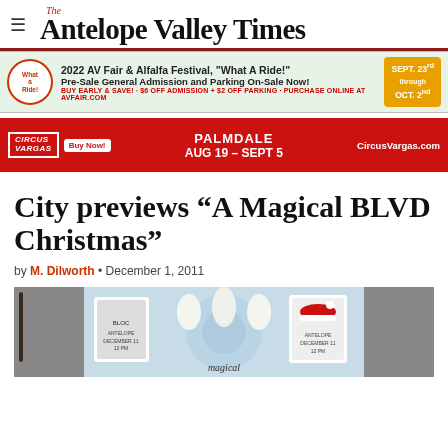The Antelope Valley Times
[Figure (infographic): Advertisement for 2022 AV Fair & Alfalfa Festival 'What A Ride!' Pre-Sale General Admission and Parking On-Sale Now! Buy Early & Save! $6 Off Admission + $2 Off Parking. Purchase online at avfair.com. Dates: Sept. 23rd through Oct. 2nd.]
[Figure (infographic): Advertisement for Circus Vargas in Palmdale, Aug 19 - Sept 5. CircusVargas.com]
City previews “A Magical BLVD Christmas”
by M. Dilworth • December 1, 2011
[Figure (photo): Photo of performers at A Magical BLVD Christmas event preview, showing people in white gloves with a decorative blue snowflake backdrop and framed signs.]